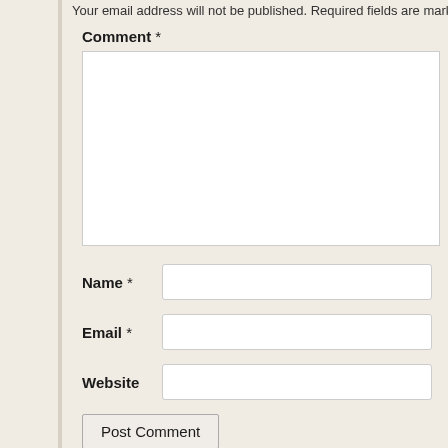Your email address will not be published. Required fields are mark
Comment *
Name *
Email *
Website
Post Comment
Notify me of new comments via email.
Notify me of new posts via email.